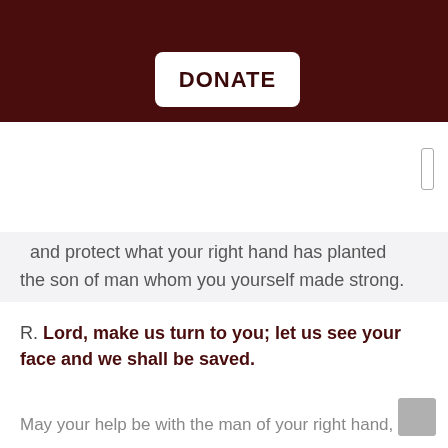[Figure (other): Dark maroon header bar with a white rounded rectangle DONATE button centered within it]
DONATE
and protect what your right hand has planted
the son of man whom you yourself made strong.
R. Lord, make us turn to you; let us see your face and we shall be saved.
May your help be with the man of your right hand,